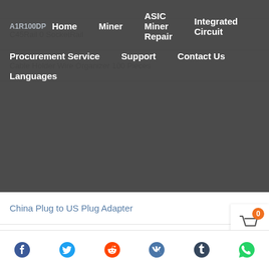Navigation menu overlay with: Home, Miner, ASIC Miner Repair, Integrated Circuit, Procurement Service, Support, Contact Us, Languages
China Plug to US Plug Adapter
Adjustable power supply
MP1484EN
RT809F programmer
138°C low temperature lead-free solder paste
TPMP1470GJ S42B
Social sharing icons: Facebook, Twitter, Reddit, VK, Tumblr, WhatsApp